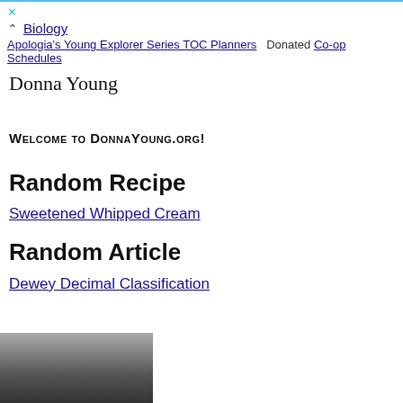× ^ Biology
Apologia's Young Explorer Series TOC Planners  Donated Co-op Schedules
Donna Young
Welcome to DonnaYoung.org!
Random Recipe
Sweetened Whipped Cream
Random Article
Dewey Decimal Classification
[Figure (photo): Black and white photograph, partially visible at bottom of page, appears to show grass or landscape]